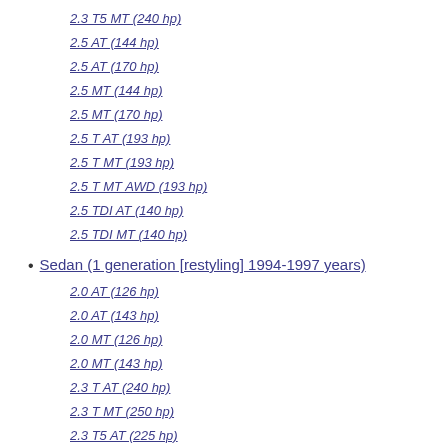2.3 T5 MT (240 hp)
2.5 AT (144 hp)
2.5 AT (170 hp)
2.5 MT (144 hp)
2.5 MT (170 hp)
2.5 T AT (193 hp)
2.5 T MT (193 hp)
2.5 T MT AWD (193 hp)
2.5 TDI AT (140 hp)
2.5 TDI MT (140 hp)
Sedan (1 generation [restyling] 1994-1997 years)
2.0 AT (126 hp)
2.0 AT (143 hp)
2.0 MT (126 hp)
2.0 MT (143 hp)
2.3 T AT (240 hp)
2.3 T MT (250 hp)
2.3 T5 AT (225 hp)
2.3 T5 MT (225 hp)
2.3 T5 MT (240 hp)